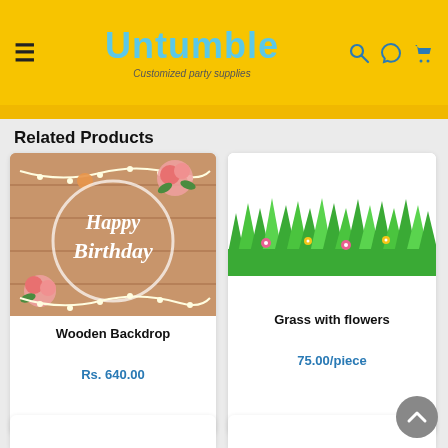Untumble — Customized party supplies
Related Products
[Figure (photo): Happy Birthday wooden backdrop product image with pink roses and string lights]
Wooden Backdrop
Rs. 640.00
[Figure (illustration): Grass with flowers decorative cutout product image]
Grass with flowers
75.00/piece